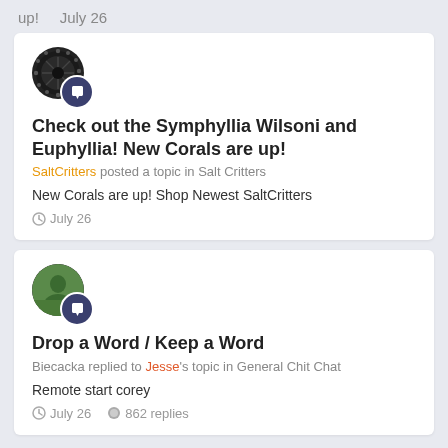up!   July 26
Check out the Symphyllia Wilsoni and Euphyllia! New Corals are up!
SaltCritters posted a topic in Salt Critters
New Corals are up! Shop Newest SaltCritters
July 26
Drop a Word / Keep a Word
Biecacka replied to Jesse's topic in General Chit Chat
Remote start corey
July 26   862 replies